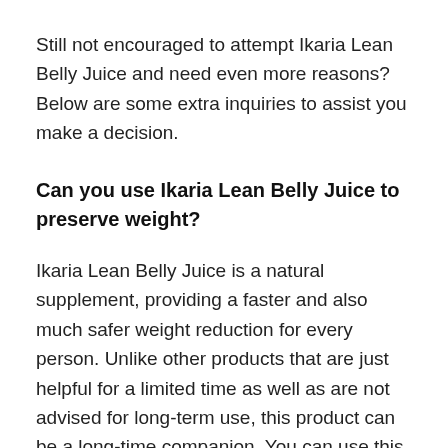Still not encouraged to attempt Ikaria Lean Belly Juice and need even more reasons? Below are some extra inquiries to assist you make a decision.
Can you use Ikaria Lean Belly Juice to preserve weight?
Ikaria Lean Belly Juice is a natural supplement, providing a faster and also much safer weight reduction for every person. Unlike other products that are just helpful for a limited time as well as are not advised for long-term use, this product can be a long-time companion. You can use this supplement for as long as you want, even after achieving your weight. Some individuals have been